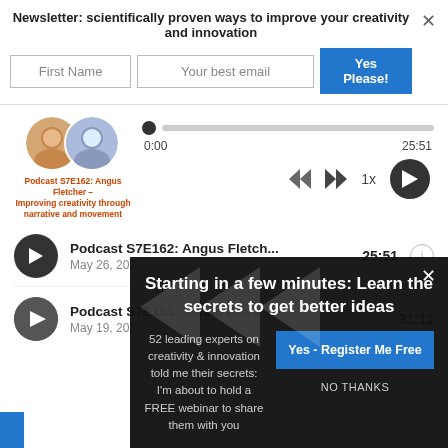Newsletter: scientifically proven ways to improve your creativity and innovation
[Figure (screenshot): Newsletter email signup form with First Name input, Your best email input, and Yes Please! button]
[Figure (screenshot): Podcast audio player with two circular avatars, progress bar at 0:00 of 25:51, rewind/fast-forward controls, 1x speed, and large play button]
Podcast S7E162: Angus Fletcher – Improving creativity through narrative and movement
Podcast S7E162: Angus Fletch...   25:51
May 26, 2022
Podcast S7E161: Tiffani Bova -...   31:11
May 19, 2022
Starting in a few minutes: Learn the secrets to get better ideas
52 leading experts on creativity & innovation told me their secrets: I'm about to hold a FREE webinar to share them with you
Yes - Register Me Free
NO THANKS